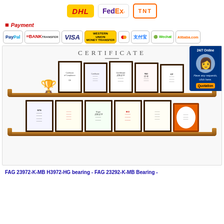[Figure (logo): Shipping logos: DHL, FedEx, TNT]
Payment
[Figure (logo): Payment method logos: PayPal, Bank Transfer, VISA, Western Union, MasterCard, Alipay, Wechat, Alibaba.com]
[Figure (photo): Certificate display section showing CERTIFICATE heading and two shelves of framed certificates and awards including a trophy. Overlaid with a 24/7 Online customer service chat widget.]
FAG 23972-K-MB H3972-HG bearing - FAG 23292-K-MB Bearing -